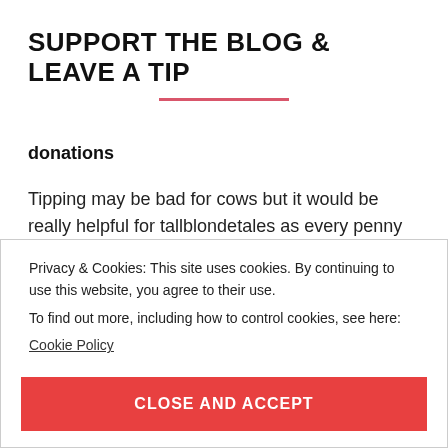SUPPORT THE BLOG & LEAVE A TIP
donations
Tipping may be bad for cows but it would be really helpful for tallblondetales as every penny helps the writer and maintaining the blog
Privacy & Cookies: This site uses cookies. By continuing to use this website, you agree to their use.
To find out more, including how to control cookies, see here:
Cookie Policy
CLOSE AND ACCEPT